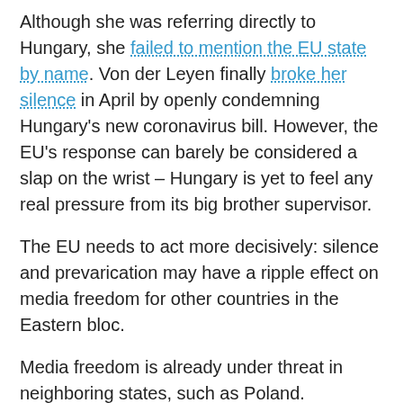Although she was referring directly to Hungary, she failed to mention the EU state by name. Von der Leyen finally broke her silence in April by openly condemning Hungary's new coronavirus bill. However, the EU's response can barely be considered a slap on the wrist – Hungary is yet to feel any real pressure from its big brother supervisor.
The EU needs to act more decisively: silence and prevarication may have a ripple effect on media freedom for other countries in the Eastern bloc.
Media freedom is already under threat in neighboring states, such as Poland. According to the International Press Institute (IPI), around 50 criminal and civil cases have been brought against the Polish newspaper, Gazeta Wyborcza, by various state or state-controlled institutions. Also, the ruling Law and Justice party (PiS) has used